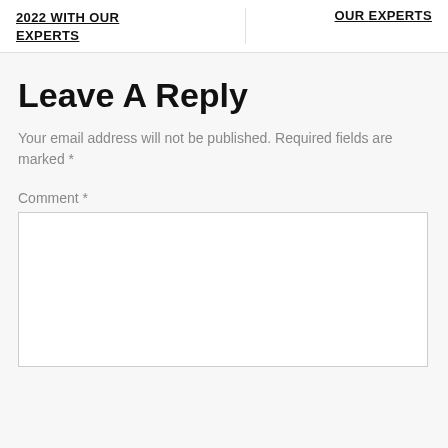2022 WITH OUR EXPERTS
OUR EXPERTS
Leave A Reply
Your email address will not be published. Required fields are marked *
Comment *